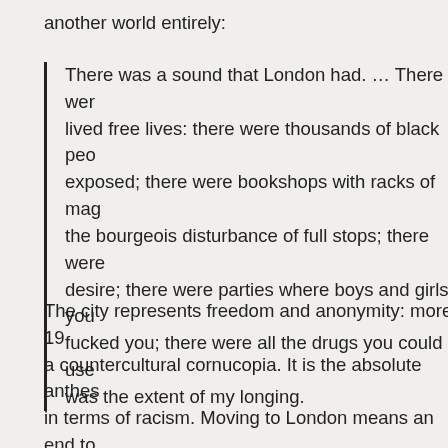another world entirely:
There was a sound that London had. … There were lived free lives: there were thousands of black peo exposed; there were bookshops with racks of mag the bourgeois disturbance of full stops; there were desire; there were parties where boys and girls you fucked you; there were all the drugs you could use was the extent of my longing.
The city represents freedom and anonymity: more, 19 a countercultural cornucopia. It is the absolute anthes in terms of racism. Moving to London means an end to Karim suffers in the mainly white suburbs and a new s London novels, the city isn't a disappointment: 'So this more pleasure than strolling around my new possessio framework of suburban dullness and bigotry versus me is considerably more complexity.